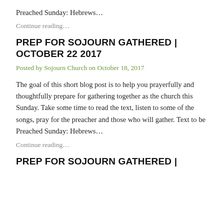Preached Sunday: Hebrews…
Continue reading…
PREP FOR SOJOURN GATHERED | OCTOBER 22 2017
Posted by Sojourn Church on October 18, 2017
The goal of this short blog post is to help you prayerfully and thoughtfully prepare for gathering together as the church this Sunday. Take some time to read the text, listen to some of the songs, pray for the preacher and those who will gather. Text to be Preached Sunday: Hebrews…
Continue reading…
PREP FOR SOJOURN GATHERED |